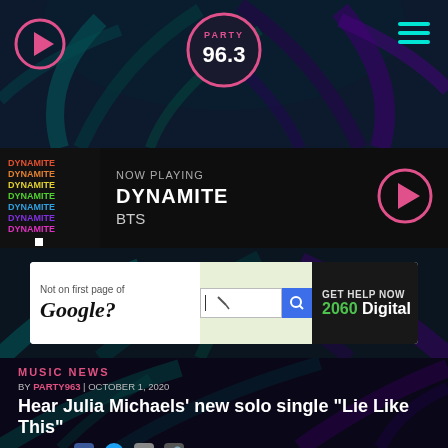[Figure (screenshot): Radio station header with palm leaf background, play button icon, Party 96.3 logo, and hamburger menu icon]
[Figure (screenshot): Now playing bar showing DYNAMITE by BTS with album art and play button]
[Figure (screenshot): Advertisement banner: Not on first page of Google? GET HELP NOW 2060 Digital]
MUSIC NEWS
BY PARTY963 | OCTOBER 1, 2020
Hear Julia Michaels' new solo single "Lie Like This"
SHARE: